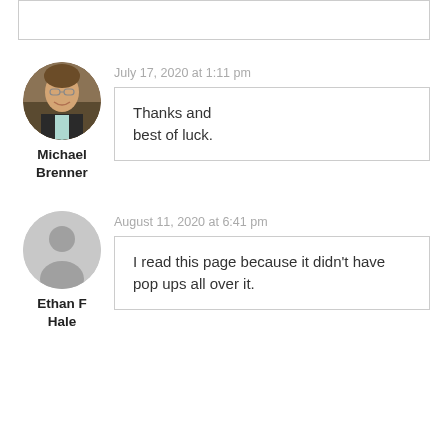[Figure (other): Empty bordered box at the top of the page]
[Figure (photo): Circular avatar photo of Michael Brenner, a man in a dark suit smiling]
Michael Brenner
July 17, 2020 at 1:11 pm
Thanks and best of luck.
[Figure (illustration): Generic gray circular avatar placeholder for Ethan F Hale]
Ethan F Hale
August 11, 2020 at 6:41 pm
I read this page because it didn't have pop ups all over it.